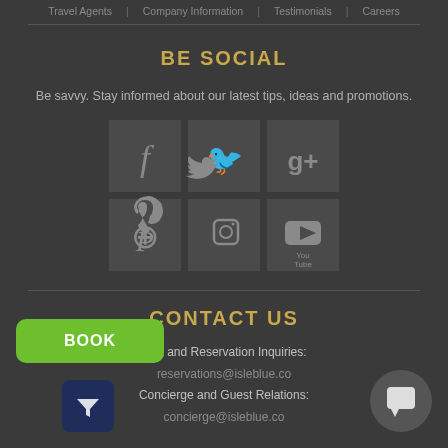Travel Agents | Company Information | Testimonials | Careers
BE SOCIAL
Be savvy. Stay informed about our latest tips, ideas and promotions.
[Figure (other): Social media icons grid: Facebook, Twitter, Google+, Pinterest, Instagram, YouTube]
CONTACT US
Villa and Reservation Inquiries:
reservations@isleblue.co
Concierge and Guest Relations:
concierge@isleblue.co